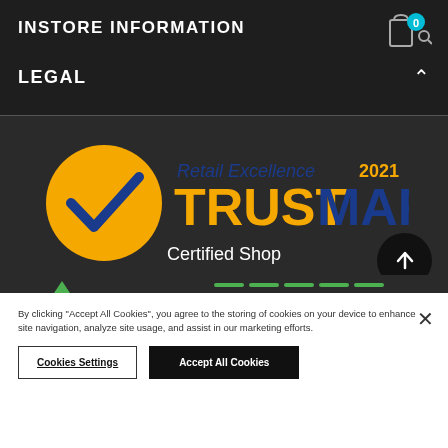INSTORE INFORMATION
LEGAL
[Figure (logo): Retail Excellence 2021 TrustMark Certified Shop logo with yellow circle and checkmark, blue and yellow text]
[Figure (logo): Trust Ecommerce Europe logo with stars circle and checkmark]
By clicking "Accept All Cookies", you agree to the storing of cookies on your device to enhance site navigation, analyze site usage, and assist in our marketing efforts.
Cookies Settings
Accept All Cookies